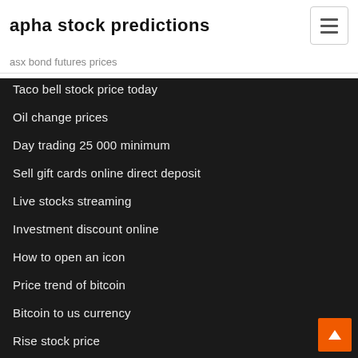apha stock predictions
asx bond futures prices
Taco bell stock price today
Oil change prices
Day trading 25 000 minimum
Sell gift cards online direct deposit
Live stocks streaming
Investment discount online
How to open an icon
Price trend of bitcoin
Bitcoin to us currency
Rise stock price